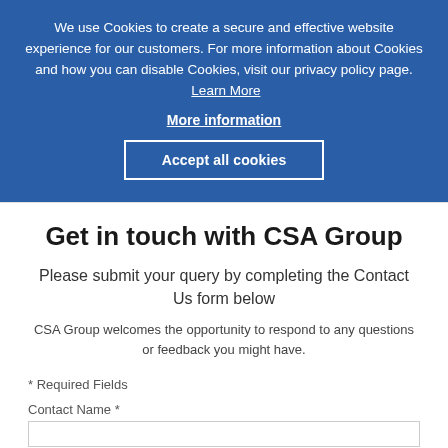We use Cookies to create a secure and effective website experience for our customers. For more information about Cookies and how you can disable Cookies, visit our privacy policy page. Learn More
More information
Accept all cookies
Get in touch with CSA Group
Please submit your query by completing the Contact Us form below
CSA Group welcomes the opportunity to respond to any questions or feedback you might have.
* Required Fields
Contact Name *